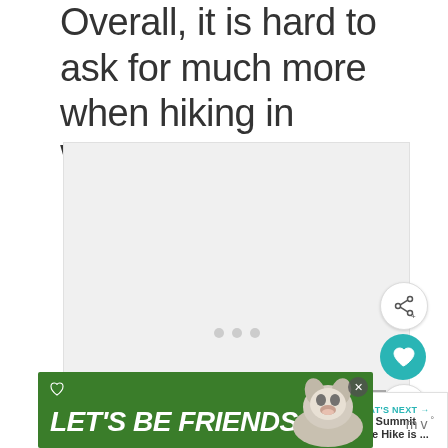Overall, it is hard to ask for much more when hiking in Washington!
[Figure (photo): Light gray image placeholder with navigation dots, likely a photo carousel of a hiking scene in Washington]
[Figure (infographic): UI overlay elements: teal heart/like button, share button, count '1', and a 'WHAT'S NEXT' bar showing 'The Summit Lake Hike is ...' with a thumbnail of a lake and mountains]
[Figure (infographic): Green advertisement banner reading 'LET'S BE FRIENDS' in italic bold white text with a husky dog image and a close button, alongside Mediavine logo]